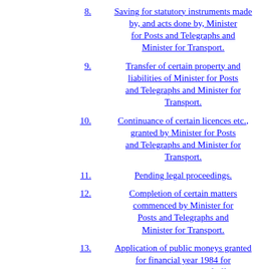Minister for Transport in certain documents.
8. Saving for statutory instruments made by, and acts done by, Minister for Posts and Telegraphs and Minister for Transport.
9. Transfer of certain property and liabilities of Minister for Posts and Telegraphs and Minister for Transport.
10. Continuance of certain licences etc., granted by Minister for Posts and Telegraphs and Minister for Transport.
11. Pending legal proceedings.
12. Completion of certain matters commenced by Minister for Posts and Telegraphs and Minister for Transport.
13. Application of public moneys granted for financial year 1984 for salaries and expenses of offices...